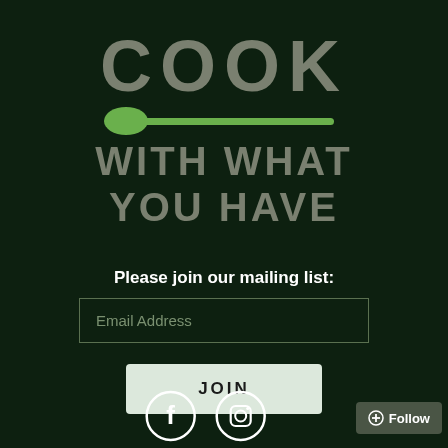[Figure (logo): Cook With What You Have logo: large grey bold text 'COOK' above a green spoon graphic, then grey bold text 'WITH WHAT YOU HAVE']
Please join our mailing list:
Email Address
JOIN
[Figure (illustration): Facebook and Instagram social media icons (white circles with logos)]
+ Follow